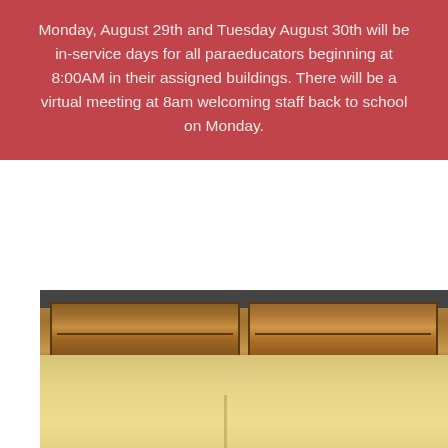Monday, August 29th and Tuesday August 30th will be in-service days for all paraeducators beginning at 8:00AM in their assigned buildings. There will be a virtual meeting at 8am welcoming staff back to school on Monday.
[Figure (photo): Photo of wooden gymnasium bleachers/benches on a hardwood gym floor, viewed from floor level.]